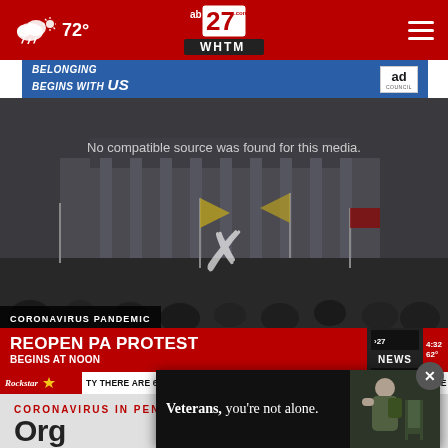72° | abc27 WHTM | Navigation menu
[Figure (screenshot): Ad banner: BELONGING BEGINS WITH US, with Ad Council badge]
[Figure (screenshot): Video player showing protest footage outside Pennsylvania state capitol. Text overlay: 'No compatible source was found for this media.' Lower third: CORONAVIRUS PANDEMIC / REOPEN PA PROTEST / BEGINS AT NOON. Ticker: TY THERE ARE 63,105 CONFIRMED COVID-19 CASES IN PENNSYLVANIA ... THERE HAV... NEWS]
CORONAVIRUS IN PENNSYLVANIA
Org
[Figure (screenshot): Advertisement popup overlay: Veterans, you're not alone. Shows a veteran with a green backpack near chairs.]